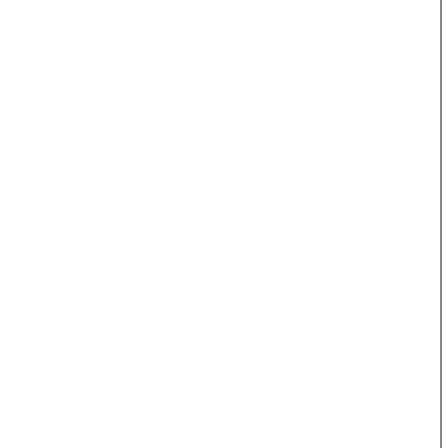measuring was not to have 64 Smith V. Wisconsin Invest- by founded only on the V. Chipm Wysoski, 186 Mass. Williams,
Lassing v. James, 107 Cal.
holds with some confusion of rule is apparently put on the p parties, to determine total pric weighed and that, contrary to Packing Co., 76 Cal. 212, refe
to lack of identification of the 128, appears to be contrary 51 confounded the presumption
The court does say, "Where
pass till identity is established ascertainment of its price for f
v. Waterbury, 116 N. Y. 371. ti
As soon as the weighing or
measuring has been done by th
seller title passes instantly. hov